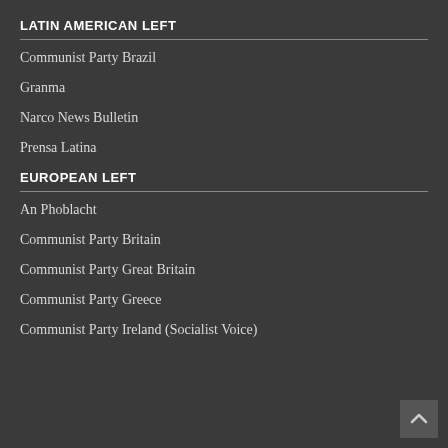LATIN AMERICAN LEFT
Communist Party Brazil
Granma
Narco News Bulletin
Prensa Latina
EUROPEAN LEFT
An Phoblacht
Communist Party Britain
Communist Party Great Britain
Communist Party Greece
Communist Party Ireland (Socialist Voice)